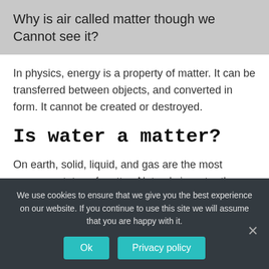Why is air called matter though we Cannot see it?
In physics, energy is a property of matter. It can be transferred between objects, and converted in form. It cannot be created or destroyed.
Is water a matter?
On earth, solid, liquid, and gas are the most common states of matter. Not only is water the most common substance on earth, but it is also the only substance that
We use cookies to ensure that we give you the best experience on our website. If you continue to use this site we will assume that you are happy with it. Ok  Privacy policy